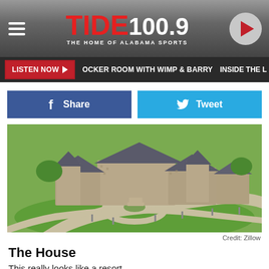TIDE 100.9 THE HOME OF ALABAMA SPORTS
LISTEN NOW  OCKER ROOM WITH WIMP & BARRY  INSIDE THE L
[Figure (screenshot): Share (Facebook) and Tweet (Twitter) social sharing buttons]
[Figure (photo): Aerial photo of a large stone castle-like mansion with circular driveway surrounded by green lawns]
Credit: Zillow
The House
This really looks like a resort.